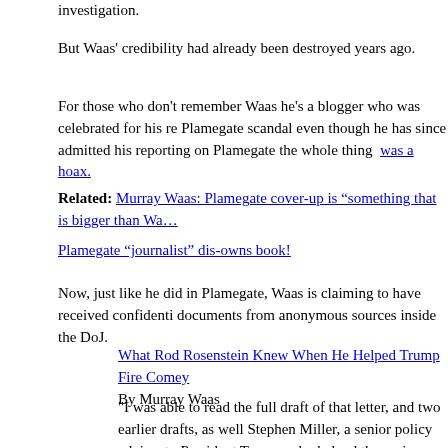investigation.
But Waas' credibility had already been destroyed years ago.
For those who don't remember Waas he's a blogger who was celebrated for his reporting on the Plamegate scandal even though he has since admitted his reporting on Plamegate was wrong and the whole thing was a hoax.
Related: Murray Waas: Plamegate cover-up is “something that is bigger than Wa…
Plamegate “journalist” dis-owns book!
Now, just like he did in Plamegate, Waas is claiming to have received confidential documents from anonymous sources inside the DoJ.
What Rod Rosenstein Knew When He Helped Trump Fire Comey
By Murray Waas
"I was able to read the full draft of that letter, and two earlier drafts, as well as Stephen Miller, a senior policy adviser to President Trump, who helped the various drafts. The Trump administration has refused to provide these records, claims of executive privilege."
Waas' latest claim is that he has obtained access to multiple draft letters written by Deputy Attorney General Rod Rosenstein that prove Trump obstructed justice in Drafts that only Waas can tell you about!